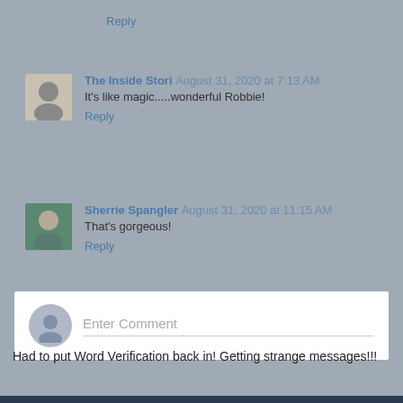Reply
The Inside Stori  August 31, 2020 at 7:13 AM
It's like magic.....wonderful Robbie!
Reply
Sherrie Spangler  August 31, 2020 at 11:15 AM
That's gorgeous!
Reply
Enter Comment
Had to put Word Verification back in! Getting strange messages!!!